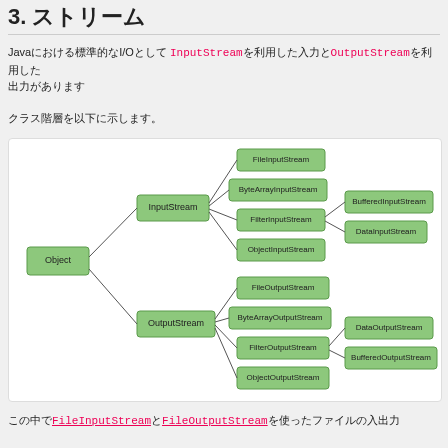3. ストリーム
Javaにおける標準的なI/Oとして InputStreamを利用した入力とOutputStreamを利用した出力があります
クラス階層を以下に示します。
[Figure (organizational-chart): Java I/O class hierarchy diagram showing Object class branching into InputStream and OutputStream. InputStream branches into FileInputStream, ByteArrayInputStream, FilterInputStream (which has BufferedInputStream and DataInputStream), and ObjectInputStream. OutputStream branches into FileOutputStream, ByteArrayOutputStream, FilterOutputStream (which has DataOutputStream and BufferedOutputStream), and ObjectOutputStream.]
この中でFileInputStreamとFileOutputStreamを使ったファイルの入出力